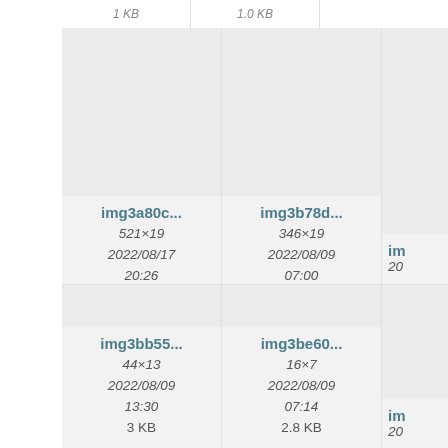[Figure (screenshot): File browser grid view showing image thumbnails with filenames, dimensions, dates, times, and file sizes. Top partial row cut off. Two full rows visible: Row 1: img3a80c... (521×19, 2022/08/17 20:26, 4.9 KB), img3b78d... (346×19, 2022/08/09 07:00, 3.1 KB), and a partial third card. Row 2: img3bb55... (44×13, 2022/08/09 13:30, 3 KB), img3be60... (16×7, 2022/08/09 07:14, 2.8 KB), and a partial third card.]